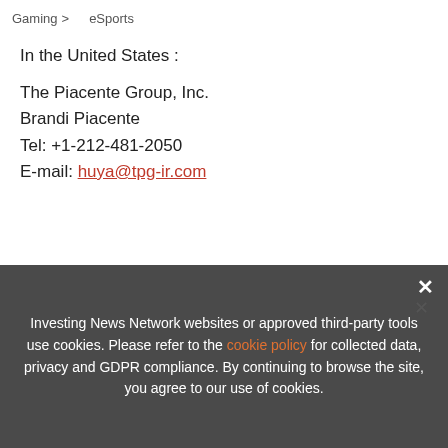Gaming > eSports
In the United States :
The Piacente Group, Inc.
Brandi Piacente
Tel: +1-212-481-2050
E-mail: huya@tpg-ir.com
[Figure (infographic): Advertisement banner for HUYA INC. with a 2022 Gaming Outlook Report ad showing TOP GAMING Stocks, Trends, Forecasts label and INN branding, with Updated Aug 12, 2022 tag, overlaid with a close button (×).]
Investing News Network websites or approved third-party tools use cookies. Please refer to the cookie policy for collected data, privacy and GDPR compliance. By continuing to browse the site, you agree to our use of cookies.